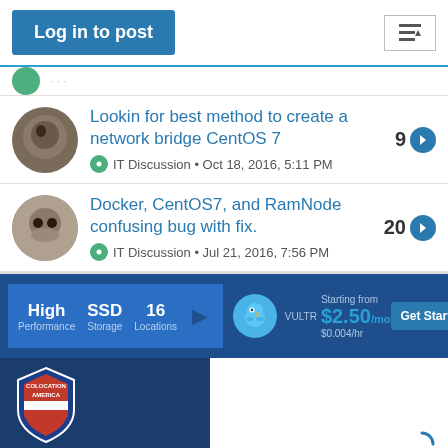Log in to post
Lookin for best method to create a network bridge CentOS 7 | IT Discussion • Oct 18, 2016, 5:11 PM | 9 replies
Docker, CentOS7, and RamNode confusing bug with fix. | IT Discussion • Jul 21, 2016, 7:56 PM | 20 replies
[Figure (infographic): Vultr advertisement banner: High Performance, SSD Storage, 16 Locations, Starting from $2.50/mo ($0.004/hr), Get Started button]
[Figure (infographic): Colocation America advertisement: shield logo, YOUR SERVER, text. Loading spinner on right side.]